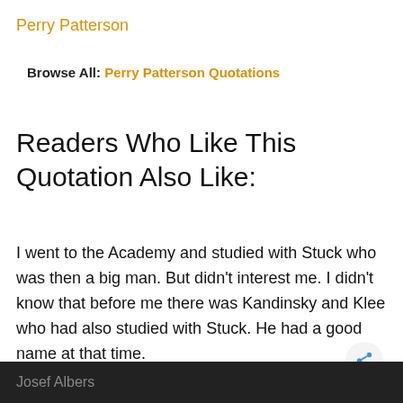Perry Patterson
Browse All: Perry Patterson Quotations
Readers Who Like This Quotation Also Like:
I went to the Academy and studied with Stuck who was then a big man. But didn't interest me. I didn't know that before me there was Kandinsky and Klee who had also studied with Stuck. He had a good name at that time.
Josef Albers